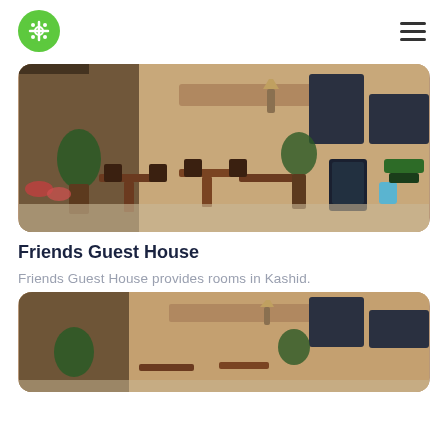[Figure (photo): Outdoor cafe/restaurant street scene with tables, chairs, plants, a chalkboard sign, and a building facade — the main hero image for Friends Guest House listing]
Friends Guest House
Friends Guest House provides rooms in Kashid.
[Figure (photo): Second outdoor cafe/restaurant street scene, partially visible — same location as the main image above, cropped at the bottom of the page]